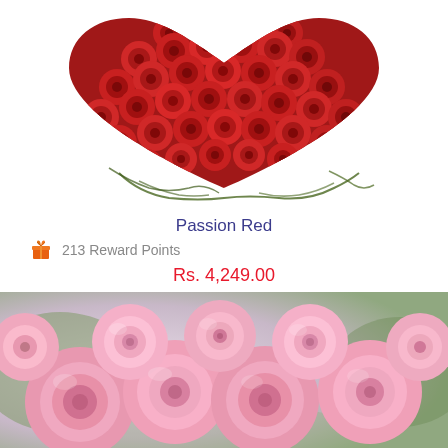[Figure (photo): Heart-shaped arrangement of red roses on a white background, viewed from slightly above. The heart shape is formed by tightly packed deep red roses with green wire/vine frame visible at the bottom.]
Passion Red
213 Reward Points
Rs. 4,249.00
[Figure (photo): Close-up of pink roses in a bouquet, with soft blurred background of green foliage. The roses are light pink with slightly darker pink edges, arranged in a lush bunch.]